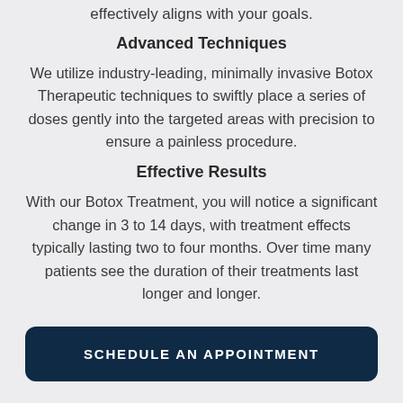effectively aligns with your goals.
Advanced Techniques
We utilize industry-leading, minimally invasive Botox Therapeutic techniques to swiftly place a series of doses gently into the targeted areas with precision to ensure a painless procedure.
Effective Results
With our Botox Treatment, you will notice a significant change in 3 to 14 days, with treatment effects typically lasting two to four months. Over time many patients see the duration of their treatments last longer and longer.
SCHEDULE AN APPOINTMENT